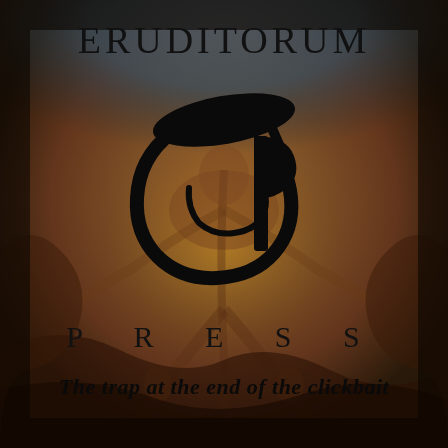[Figure (illustration): Dark background illustration of a human figure (Blake-style artwork) with muted red-brown and grey-blue tones, figure bending downward with arms and legs spread]
ERUDITORUM
[Figure (logo): Eruditorum Press stylized 'EP' logo in black — a large cursive 'E' swirl combined with a 'P' letterform]
PRESS
The trap at the end of the clickbait